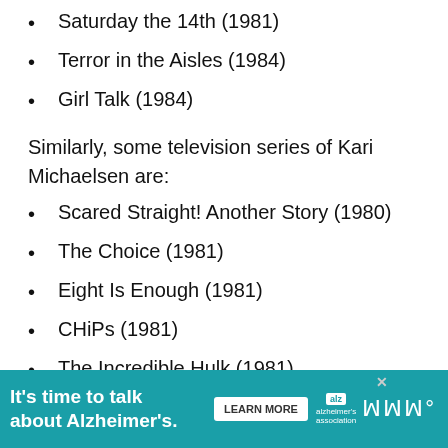Saturday the 14th (1981)
Terror in the Aisles (1984)
Girl Talk (1984)
Similarly, some television series of Kari Michaelsen are:
Scared Straight! Another Story (1980)
The Choice (1981)
Eight Is Enough (1981)
CHiPs (1981)
The Incredible Hulk (1981)
Gimme a Break! (1981-86)
[Figure (screenshot): Advertisement banner: 'It's time to talk about Alzheimer's.' with a Learn More button and Alzheimer's Association logo]